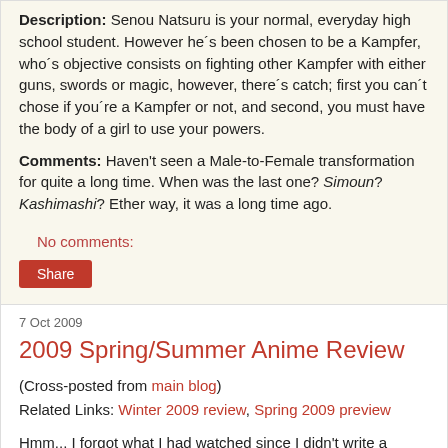Description: Senou Natsuru is your normal, everyday high school student. However he´s been chosen to be a Kampfer, who´s objective consists on fighting other Kampfer with either guns, swords or magic, however, there´s catch; first you can´t chose if you´re a Kampfer or not, and second, you must have the body of a girl to use your powers.
Comments: Haven't seen a Male-to-Female transformation for quite a long time. When was the last one? Simoun? Kashimashi? Ether way, it was a long time ago.
No comments:
Share
7 Oct 2009
2009 Spring/Summer Anime Review
(Cross-posted from main blog)
Related Links: Winter 2009 review, Spring 2009 preview
Hmm... I forgot what I had watched since I didn't write a